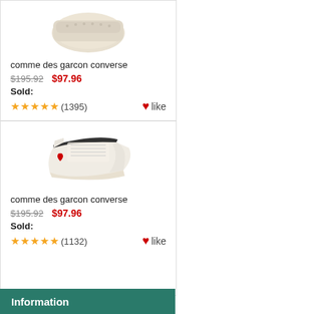[Figure (photo): Cream/beige high-top sneaker shoe (comme des garcon converse), top portion visible]
comme des garcon converse
$195.92  $97.96
Sold:
★★★★★ (1395)  ♥like
[Figure (photo): White high-top Converse sneaker with red heart logo (comme des garcon converse)]
comme des garcon converse
$195.92  $97.96
Sold:
★★★★★ (1132)  ♥like
Information